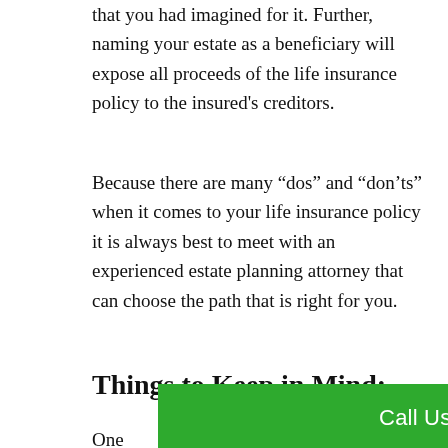that you had imagined for it. Further, naming your estate as a beneficiary will expose all proceeds of the life insurance policy to the insured's creditors.
Because there are many “dos” and “don’ts” when it comes to your life insurance policy it is always best to meet with an experienced estate planning attorney that can choose the path that is right for you.
Things to Keep in Mind:
Call Us Now at (407) 537-7275
One